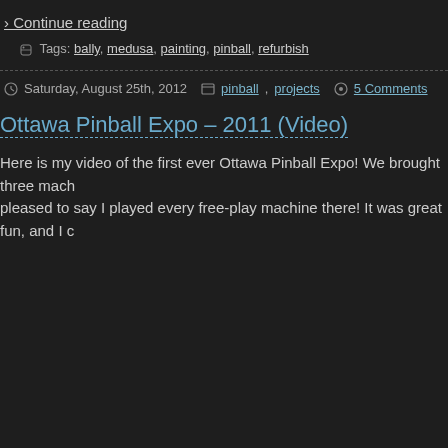› Continue reading
Tags: bally, medusa, painting, pinball, refurbish
Saturday, August 25th, 2012  pinball, projects  5 Comments
Ottawa Pinball Expo – 2011 (Video)
Here is my video of the first ever Ottawa Pinball Expo! We brought three mach... pleased to say I played every free-play machine there! It was great fun, and I c...